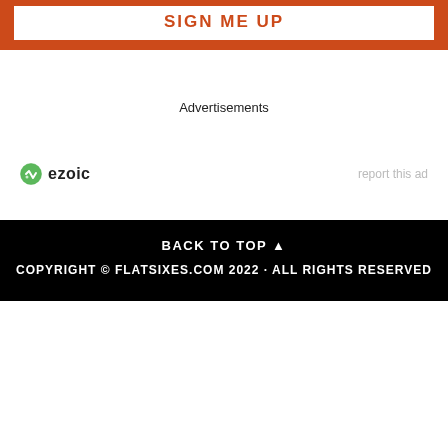SIGN ME UP
Advertisements
[Figure (logo): Ezoic logo with green circular icon and 'ezoic' text in bold, alongside 'report this ad' text on the right]
BACK TO TOP ▲ COPYRIGHT © FLATSIXES.COM 2022 · ALL RIGHTS RESERVED